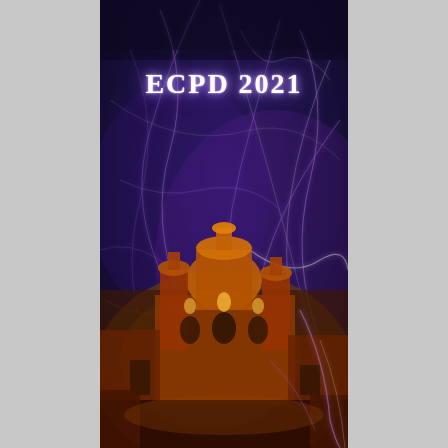[Figure (illustration): Book cover for ECPD 2021. Dark navy/purple background with glowing purple abstract light streaks. In the lower portion, an illuminated historic building/cathedral with warm orange/amber lighting is visible. The text 'ECPD 2021' appears in bold white letters near the top center of the cover.]
ECPD 2021